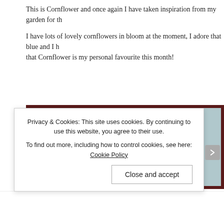This is Cornflower and once again I have taken inspiration from my garden for th...
I have lots of lovely cornflowers in bloom at the moment, I adore that blue and I h... that Cornflower is my personal favourite this month!
[Figure (illustration): Two illustrated white mice sharing food on a brown background (left panel), a shell outline sketch in the center, and a crocheted white mouse toy with pink flower ears on a blue-green background (right panel), all within a dark brown border frame.]
Privacy & Cookies: This site uses cookies. By continuing to use this website, you agree to their use.
To find out more, including how to control cookies, see here: Cookie Policy
Close and accept